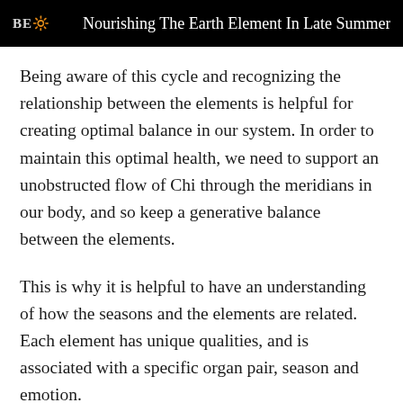BE  Nourishing The Earth Element In Late Summer
Being aware of this cycle and recognizing the relationship between the elements is helpful for creating optimal balance in our system. In order to maintain this optimal health, we need to support an unobstructed flow of Chi through the meridians in our body, and so keep a generative balance between the elements.
This is why it is helpful to have an understanding of how the seasons and the elements are related. Each element has unique qualities, and is associated with a specific organ pair, season and emotion.
The end of summer — when it is not quite fall yet, but